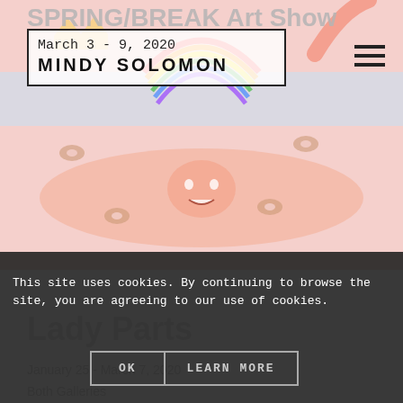SPRING/BREAK Art Show
March 3 - 9, 2020
MINDY SOLOMON
[Figure (illustration): Colorful illustration/painting showing a figure lying down with a rainbow, donuts, and cartoon elements in pink/pastel tones]
This site uses cookies. By continuing to browse the site, you are agreeing to our use of cookies.
Lady Parts
January 25 - March 7, 2020
Both Galleries
OK
LEARN MORE